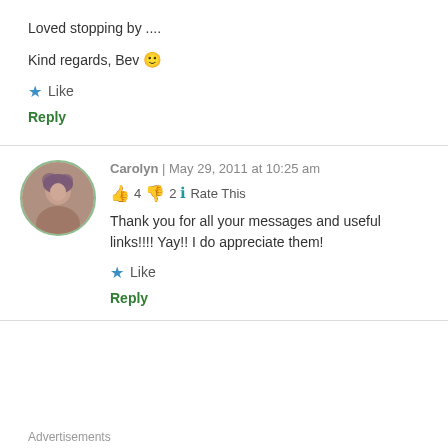Loved stopping by ....
Kind regards, Bev 🙂
⭐ Like
Reply
Carolyn | May 29, 2011 at 10:25 am
👍 4 👎 2 ℹ Rate This
Thank you for all your messages and useful links!!!! Yay!! I do appreciate them!
⭐ Like
Reply
Advertisements